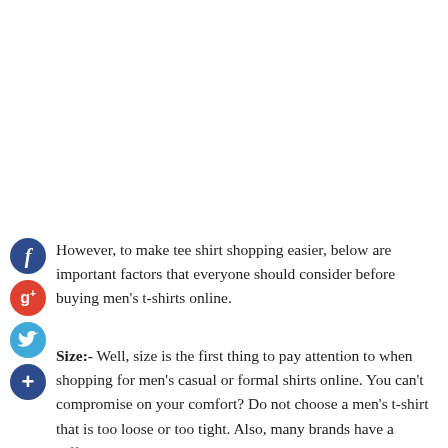[Figure (illustration): Social media share icons: Facebook (dark blue circle with f), Google+ (red circle with g+), Twitter (blue circle with bird), and a dark blue circle with + sign, arranged vertically on the left side of the page]
However, to make tee shirt shopping easier, below are important factors that everyone should consider before buying men's t-shirts online.
Size:- Well, size is the first thing to pay attention to when shopping for men's casual or formal shirts online. You can't compromise on your comfort? Do not choose a men's t-shirt that is too loose or too tight. Also, many brands have a different size chart